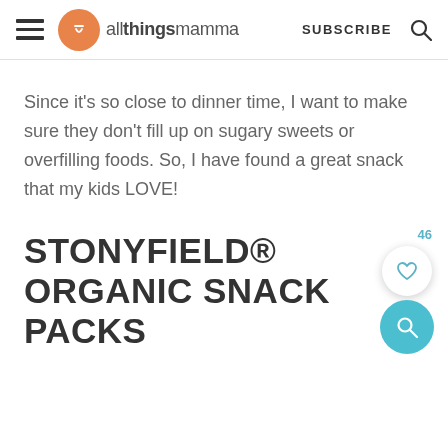allthingsmamma | SUBSCRIBE
Since it's so close to dinner time, I want to make sure they don't fill up on sugary sweets or overfilling foods. So, I have found a great snack that my kids LOVE!
STONYFIELD® ORGANIC SNACK PACKS